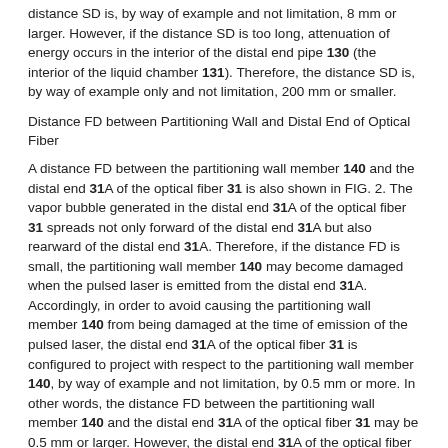distance SD is, by way of example and not limitation, 8 mm or larger. However, if the distance SD is too long, attenuation of energy occurs in the interior of the distal end pipe 130 (the interior of the liquid chamber 131). Therefore, the distance SD is, by way of example only and not limitation, 200 mm or smaller.
Distance FD between Partitioning Wall and Distal End of Optical Fiber
A distance FD between the partitioning wall member 140 and the distal end 31A of the optical fiber 31 is also shown in FIG. 2. The vapor bubble generated in the distal end 31A of the optical fiber 31 spreads not only forward of the distal end 31A but also rearward of the distal end 31A. Therefore, if the distance FD is small, the partitioning wall member 140 may become damaged when the pulsed laser is emitted from the distal end 31A. Accordingly, in order to avoid causing the partitioning wall member 140 from being damaged at the time of emission of the pulsed laser, the distal end 31A of the optical fiber 31 is configured to project with respect to the partitioning wall member 140, by way of example and not limitation, by 0.5 mm or more. In other words, the distance FD between the partitioning wall member 140 and the distal end 31A of the optical fiber 31 may be 0.5 mm or larger. However, the distal end 31A of the optical fiber 31 may vibrate at the time the vapor bubble is generated if the distance FD is too long. As a result, the distance FD is, by way of example and not limitation, 5 mm or smaller. This range for FD ensures that the partitioning wall member 140 is